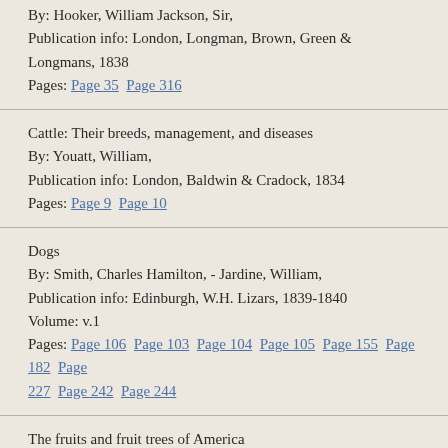By: Hooker, William Jackson, Sir,
Publication info: London, Longman, Brown, Green & Longmans, 1838
Pages: Page 35  Page 316
Cattle: Their breeds, management, and diseases
By: Youatt, William,
Publication info: London, Baldwin & Cradock, 1834
Pages: Page 9  Page 10
Dogs
By: Smith, Charles Hamilton, - Jardine, William,
Publication info: Edinburgh, W.H. Lizars, 1839-1840
Volume: v.1
Pages: Page 106  Page 103  Page 104  Page 105  Page 155  Page 182  Page 227  Page 242  Page 244
The fruits and fruit trees of America
By: Downing, Andrew Jackson,